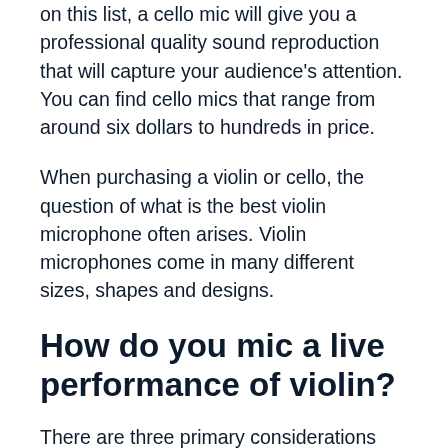on this list, a cello mic will give you a professional quality sound reproduction that will capture your audience's attention. You can find cello mics that range from around six dollars to hundreds in price.
When purchasing a violin or cello, the question of what is the best violin microphone often arises. Violin microphones come in many different sizes, shapes and designs.
How do you mic a live performance of violin?
There are three primary considerations when deciding on the best violin microphone. First, size of the diaphragm. The largest impediment to the sound is the proximity of the diaphragm to the speaker, thus providing the best violin pickup. Obviously, the larger the diaphragm, the best violin microphone will be.